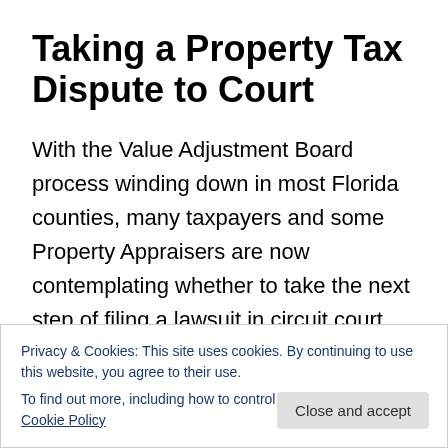Taking a Property Tax Dispute to Court
With the Value Adjustment Board process winding down in most Florida counties, many taxpayers and some Property Appraisers are now contemplating whether to take the next step of filing a lawsuit in circuit court.  This post will explain the deadlines and requirements for filing a circuit court action, the effect of the VAB proceeding in court cases, and the difference between a VAB and court
Privacy & Cookies: This site uses cookies. By continuing to use this website, you agree to their use.
To find out more, including how to control cookies, see here: Cookie Policy
Close and accept